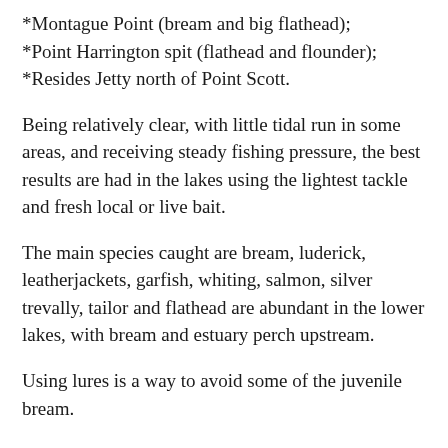*Montague Point (bream and big flathead);
*Point Harrington spit (flathead and flounder);
*Resides Jetty north of Point Scott.
Being relatively clear, with little tidal run in some areas, and receiving steady fishing pressure, the best results are had in the lakes using the lightest tackle and fresh local or live bait.
The main species caught are bream, luderick, leatherjackets, garfish, whiting, salmon, silver trevally, tailor and flathead are abundant in the lower lakes, with bream and estuary perch upstream.
Using lures is a way to avoid some of the juvenile bream.